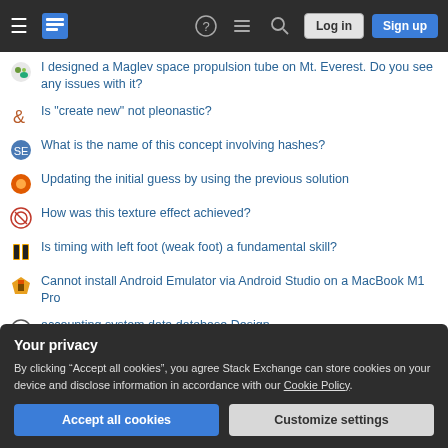Stack Exchange navigation bar with Log in and Sign up buttons
I designed a Maglev space propulsion tube on Mt. Everest. Do you see any issues with it?
Is "create new" not pleonastic?
What is the name of this concept involving hashes?
Updating the initial guess by using the previous solution
How was this texture effect achieved?
Is timing with left foot (weak foot) a fundamental skill?
Cannot install Android Emulator via Android Studio on a MacBook M1 Pro
accounting system data database Design
Your privacy
By clicking “Accept all cookies”, you agree Stack Exchange can store cookies on your device and disclose information in accordance with our Cookie Policy.
Accept all cookies | Customize settings